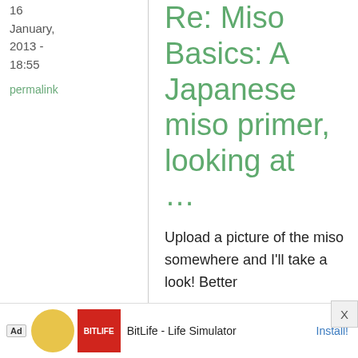16 January, 2013 - 18:55
permalink
Re: Miso Basics: A Japanese miso primer, looking at ...
Upload a picture of the miso somewhere and I'll take a look! Better
[Figure (screenshot): Ad banner at bottom: BitLife - Life Simulator with Install button and close X]